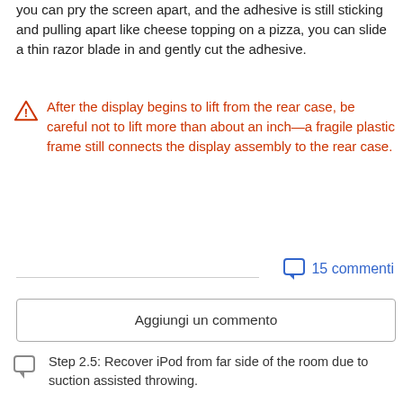you can pry the screen apart, and the adhesive is still sticking and pulling apart like cheese topping on a pizza, you can slide a thin razor blade in and gently cut the adhesive.
After the display begins to lift from the rear case, be careful not to lift more than about an inch—a fragile plastic frame still connects the display assembly to the rear case.
15 commenti
Aggiungi un commento
Step 2.5: Recover iPod from far side of the room due to suction assisted throwing.